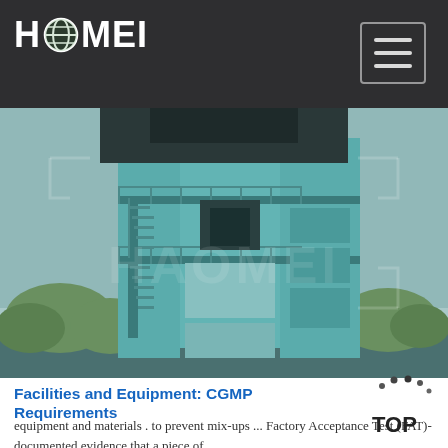HAOMEI
[Figure (photo): Industrial asphalt mixing plant tower structure, painted teal/blue-green, with external staircases, platforms, and railings. HAOMEI watermark overlay. Large industrial equipment for construction.]
Facilities and Equipment: CGMP Requirements
equipment and materials . to prevent mix-ups ... Factory Acceptance Test (FAT)- documented evidence that a piece of